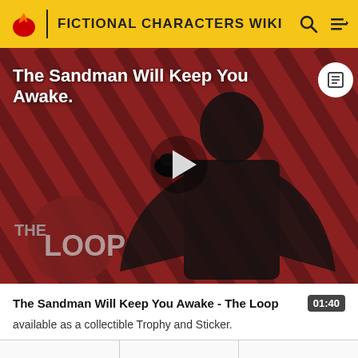FICTIONAL CHARACTERS WIKI
[Figure (screenshot): Video thumbnail showing a dark figure in a black cloak against a red diagonal striped background with 'THE LOOP' logo overlay and a white play button in the center. Title reads 'The Sandman Will Keep You Awake.']
The Sandman Will Keep You Awake - The Loop
available as a collectible Trophy and Sticker.
Trophy Description